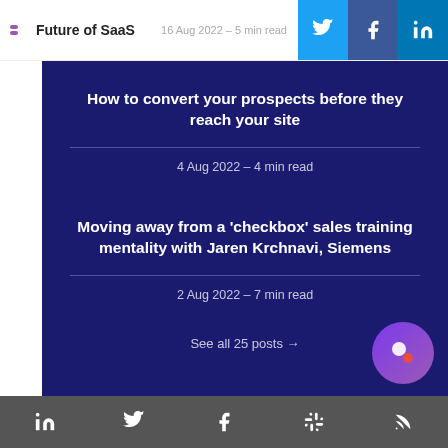Future of SaaS | 16 Aug 2022 – 5 min read
How to convert your prospects before they reach your site
4 Aug 2022 – 4 min read
Moving away from a 'checkbox' sales training mentality with Jaren Krchnavi, Siemens
2 Aug 2022 – 7 min read
See all 25 posts →
LinkedIn | Twitter | Facebook | Slack | RSS